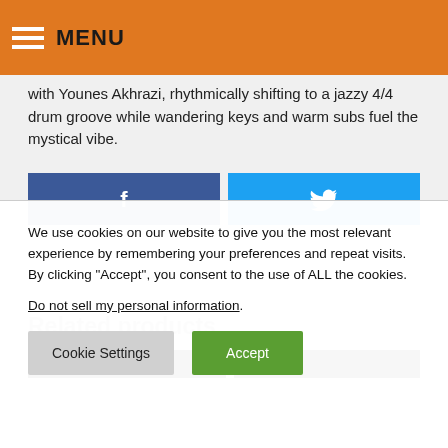MENU
with Younes Akhrazi, rhythmically shifting to a jazzy 4/4 drum groove while wandering keys and warm subs fuel the mystical vibe.
[Figure (other): Facebook share button (blue with f icon) and Twitter share button (cyan with bird icon)]
Related products
[Figure (other): Two related product thumbnail images, both dark/black backgrounds]
We use cookies on our website to give you the most relevant experience by remembering your preferences and repeat visits. By clicking "Accept", you consent to the use of ALL the cookies.
Do not sell my personal information.
Cookie Settings   Accept